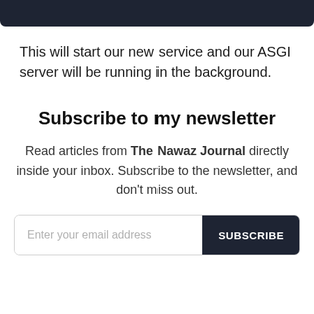[Figure (other): Dark navy header bar at top of page]
This will start our new service and our ASGI server will be running in the background.
Subscribe to my newsletter
Read articles from The Nawaz Journal directly inside your inbox. Subscribe to the newsletter, and don't miss out.
Enter your email address  SUBSCRIBE